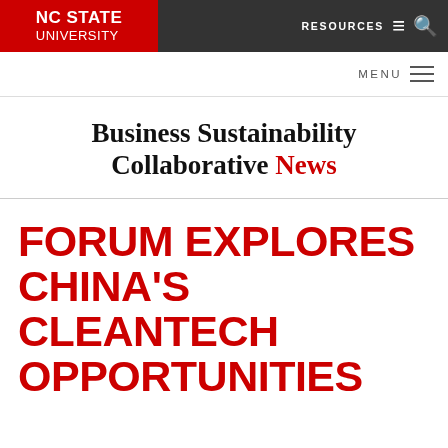[Figure (logo): NC State University logo — white text on red background in top navigation bar]
RESOURCES  ≡  🔍
MENU  ≡
Business Sustainability Collaborative News
FORUM EXPLORES CHINA'S CLEANTECH OPPORTUNITIES